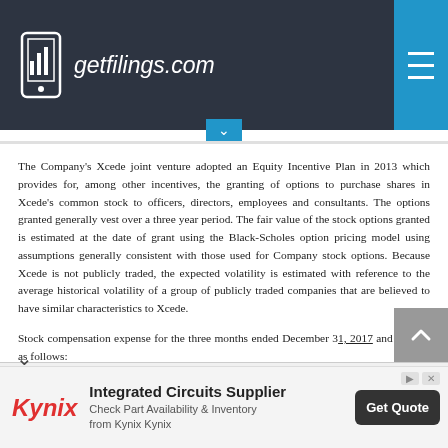getfilings.com
The Company's Xcede joint venture adopted an Equity Incentive Plan in 2013 which provides for, among other incentives, the granting of options to purchase shares in Xcede's common stock to officers, directors, employees and consultants. The options granted generally vest over a three year period. The fair value of the stock options granted is estimated at the date of grant using the Black-Scholes option pricing model using assumptions generally consistent with those used for Company stock options. Because Xcede is not publicly traded, the expected volatility is estimated with reference to the average historical volatility of a group of publicly traded companies that are believed to have similar characteristics to Xcede.
Stock compensation expense for the three months ended December 31, 2017 and 2016 is as follows:
[Figure (other): Advertisement banner: Kynix logo, Integrated Circuits Supplier, Check Part Availability & Inventory from Kynix Kynix, Get Quote button]